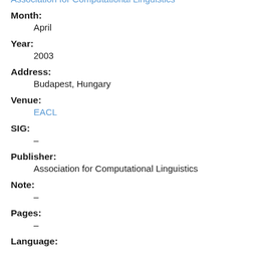Association for Computational Linguistics
Month:
April
Year:
2003
Address:
Budapest, Hungary
Venue:
EACL
SIG:
–
Publisher:
Association for Computational Linguistics
Note:
–
Pages:
–
Language: